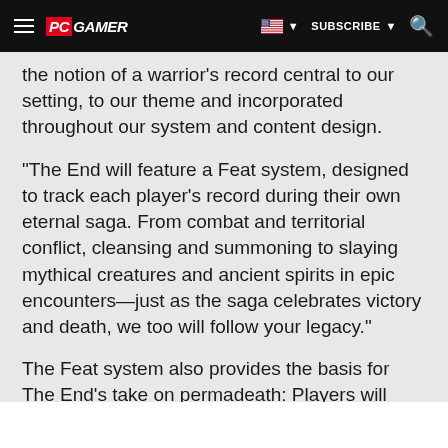PC GAMER | SUBSCRIBE
the notion of a warrior's record central to our setting, to our theme and incorporated throughout our system and content design.
"The End will feature a Feat system, designed to track each player's record during their own eternal saga. From combat and territorial conflict, cleansing and summoning to slaying mythical creatures and ancient spirits in epic encounters—just as the saga celebrates victory and death, we too will follow your legacy."
The Feat system also provides the basis for The End's take on permadeath: Players will always come back, but legacies and feats, and the options they unlock, may not.